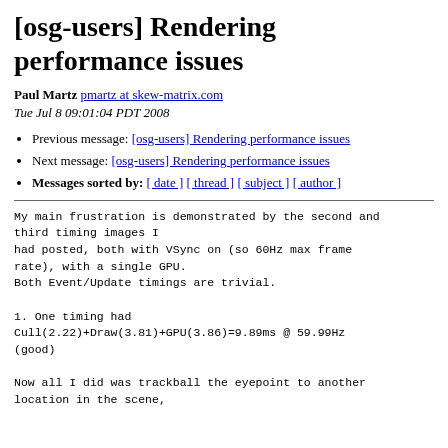[osg-users] Rendering performance issues
Paul Martz pmartz at skew-matrix.com
Tue Jul 8 09:01:04 PDT 2008
Previous message: [osg-users] Rendering performance issues
Next message: [osg-users] Rendering performance issues
Messages sorted by: [ date ] [ thread ] [ subject ] [ author ]
My main frustration is demonstrated by the second and third timing images I
had posted, both with VSync on (so 60Hz max frame rate), with a single GPU.
Both Event/Update timings are trivial.

1. One timing had
Cull(2.22)+Draw(3.81)+GPU(3.86)=9.89ms @ 59.99Hz
(good)

Now all I did was trackball the eyepoint to another location in the scene,